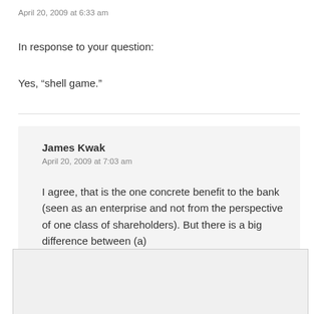April 20, 2009 at 6:33 am
In response to your question:
Yes, “shell game.”
James Kwak
April 20, 2009 at 7:03 am
I agree, that is the one concrete benefit to the bank (seen as an enterprise and not from the perspective of one class of shareholders). But there is a big difference between (a)
Privacy & Cookies: This site uses cookies. By continuing to use this website, you agree to their use. To find out more, including how to control cookies, see here: Cookie Policy
Close and accept